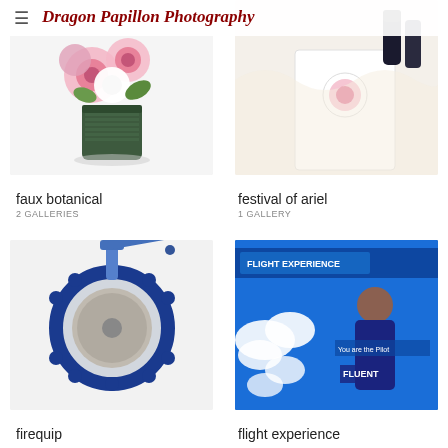Dragon Papillon Photography
[Figure (photo): Faux floral arrangement in a dark green ribbed vase on white background]
[Figure (photo): Festival of Ariel beauty/cosmetic products in white box with rose logo]
faux botanical
2 GALLERIES
festival of ariel
1 GALLERY
[Figure (photo): Firequip blue butterfly valve industrial equipment on white background]
[Figure (photo): Flight Experience storefront with young man and blue branding]
firequip
flight experience